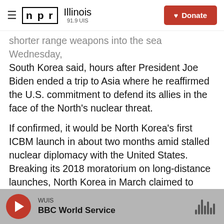[Figure (logo): NPR Illinois 91.9 UIS logo with hamburger menu and Donate button]
shorter range weapons into the sea Wednesday, South Korea said, hours after President Joe Biden ended a trip to Asia where he reaffirmed the U.S. commitment to defend its allies in the face of the North's nuclear threat.
If confirmed, it would be North Korea's first ICBM launch in about two months amid stalled nuclear diplomacy with the United States. Breaking its 2018 moratorium on long-distance launches, North Korea in March claimed to have test-launched its longest-range missile as part of its development of functioning nuclear-armed missiles that can reach the American homeland.
WUIS BBC World Service